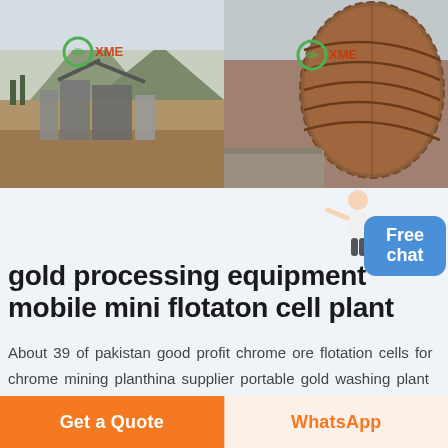[Figure (photo): Left photo: outdoor mining/processing plant site with machinery and conveyors, mountainous background. XME logo overlay in green.]
[Figure (photo): Right photo: large rusted industrial drum/ball mill equipment close-up. XME logo overlay in green.]
gold processing equipment mobile mini flotaton cell plant
About 39 of pakistan good profit chrome ore flotation cells for chrome mining planthina supplier portable gold washing plant mobile mini trommel screen the ore grinding equipment copper grinder ball mill with good performance mineral processing widely use
Get a Quote
WhatsApp